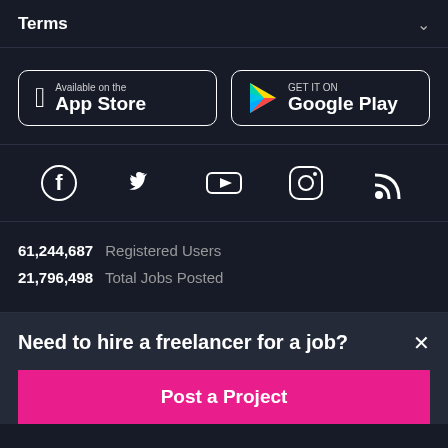Terms
[Figure (logo): App Store badge button with Apple logo, text: Available on the App Store]
[Figure (logo): Google Play badge button with Play triangle logo, text: GET IT ON Google Play]
[Figure (infographic): Social media icons row: Facebook, Twitter, YouTube, Instagram, RSS]
61,244,687  Registered Users
21,796,498  Total Jobs Posted
Need to hire a freelancer for a job?
Post a Project